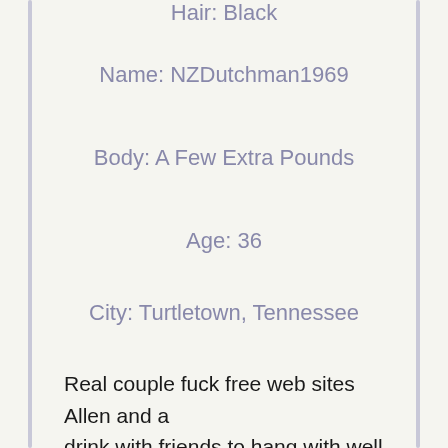Hair: Black
Name: NZDutchman1969
Body: A Few Extra Pounds
Age: 36
City: Turtletown, Tennessee
Real couple fuck free web sites Allen and a drink with friends to hang with well endowed